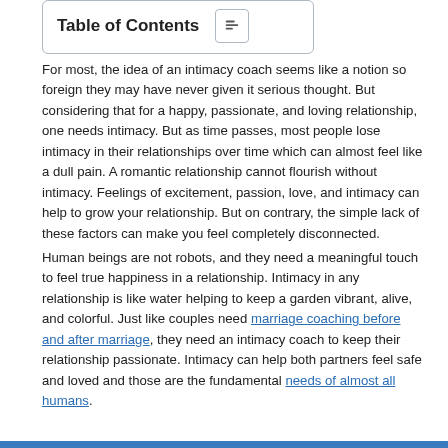Table of Contents
For most, the idea of an intimacy coach seems like a notion so foreign they may have never given it serious thought. But considering that for a happy, passionate, and loving relationship, one needs intimacy. But as time passes, most people lose intimacy in their relationships over time which can almost feel like a dull pain. A romantic relationship cannot flourish without intimacy. Feelings of excitement, passion, love, and intimacy can help to grow your relationship. But on contrary, the simple lack of these factors can make you feel completely disconnected.
Human beings are not robots, and they need a meaningful touch to feel true happiness in a relationship. Intimacy in any relationship is like water helping to keep a garden vibrant, alive, and colorful. Just like couples need marriage coaching before and after marriage, they need an intimacy coach to keep their relationship passionate. Intimacy can help both partners feel safe and loved and those are the fundamental needs of almost all humans.